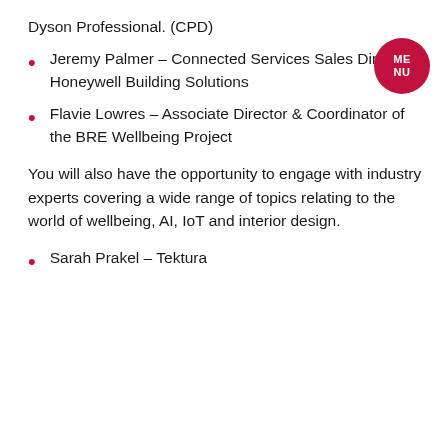Dyson Professional. (CPD)
Jeremy Palmer – Connected Services Sales Director, Honeywell Building Solutions
Flavie Lowres – Associate Director & Coordinator of the BRE Wellbeing Project
You will also have the opportunity to engage with industry experts covering a wide range of topics relating to the world of wellbeing, AI, IoT and interior design.
Sarah Prakel – Tektura